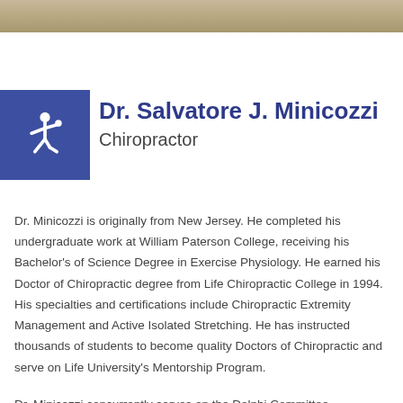[Figure (photo): Partial photo of Dr. Minicozzi at the top of the page (cropped, only bottom portion visible)]
[Figure (logo): Blue accessibility/wheelchair icon badge in top-left corner]
Dr. Salvatore J. Minicozzi
Chiropractor
Dr. Minicozzi is originally from New Jersey. He completed his undergraduate work at William Paterson College, receiving his Bachelor's of Science Degree in Exercise Physiology. He earned his Doctor of Chiropractic degree from Life Chiropractic College in 1994. His specialties and certifications include Chiropractic Extremity Management and Active Isolated Stretching. He has instructed thousands of students to become quality Doctors of Chiropractic and serve on Life University's Mentorship Program.
Dr. Minicozzi concurrently serves on the Delphi Committee, assembled by the World Health Organization. He is responsible for designing exercise